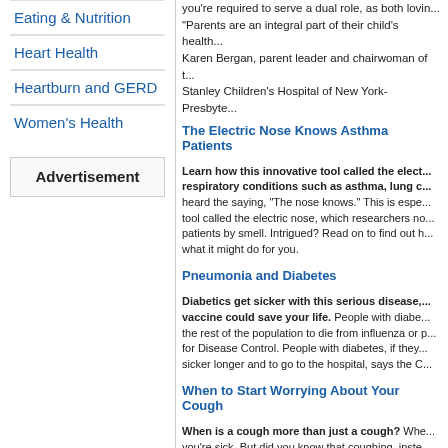Eating & Nutrition
Heart Health
Heartburn and GERD
Women's Health
Advertisement
you're required to serve a dual role, as both lovin... "Parents are an integral part of their child's health... Karen Bergan, parent leader and chairwoman of t... Stanley Children's Hospital of New York-Presbyte...
The Electric Nose Knows Asthma Patients
Learn how this innovative tool called the elect... respiratory conditions such as asthma, lung c... heard the saying, "The nose knows." This is espe... tool called the electric nose, which researchers no... patients by smell. Intrigued? Read on to find out h... what it might do for you.
Pneumonia and Diabetes
Diabetics get sicker with this serious disease,... vaccine could save your life. People with diabe... the rest of the population to die from influenza or p... for Disease Control. People with diabetes, if they... sicker longer and to go to the hospital, says the C...
When to Start Worrying About Your Cough
When is a cough more than just a cough? Whe... you're sick. But did you know that coughing, inste... heal and protect itself? This is because coughing... airways clear. In other words, it's working to preve...
The Top 5 Hospital Risks
Find out how to protect yourself from medical... hospital hazards. We've all heard the horror stor... surgery catches pneumonia, a nurse gives her...